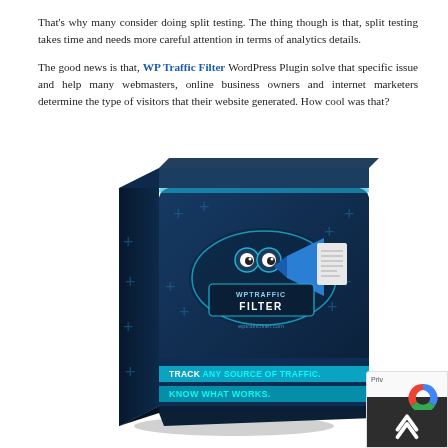That's why many consider doing split testing. The thing though is that, split testing takes time and needs more careful attention in terms of analytics details.

The good news is that, WP Traffic Filter WordPress Plugin solve that specific issue and help many webmasters, online business owners and internet marketers determine the type of visitors that their website generated. How cool was that?
[Figure (illustration): 3D software box illustration for WP Traffic Filter WordPress Plugin. Dark navy blue box with cyan cross/plus decorations, cartoon owl eyes graphic in center area, a blue arrow/funnel graphic, a white document icon, text reading 'WPTRAFFIC FILTER' and URL 'wptrafficfilter.com' on the front. Bottom of front panel reads 'TRACK ANY SOURCE OF TRAFFIC. KNOW WHAT WORKS.' in white and cyan bold text on a cyan banner.]